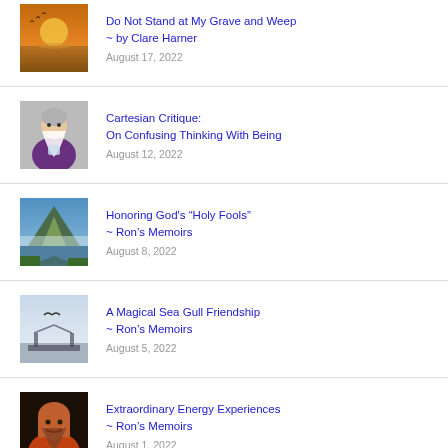Do Not Stand at My Grave and Weep ~ by Clare Harner
August 17, 2022
Cartesian Critique: On Confusing Thinking With Being
August 12, 2022
Honoring God's "Holy Fools" ~ Ron's Memoirs
August 8, 2022
A Magical Sea Gull Friendship ~ Ron's Memoirs
August 5, 2022
Extraordinary Energy Experiences ~ Ron's Memoirs
August 1, 2022